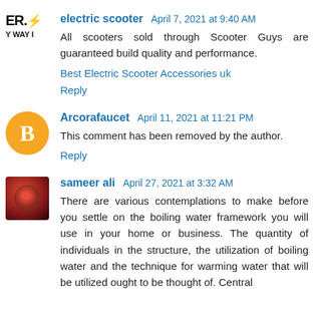electric scooter  April 7, 2021 at 9:40 AM
All scooters sold through Scooter Guys are guaranteed build quality and performance.
Best Electric Scooter Accessories uk
Reply
Arcorafaucet  April 11, 2021 at 11:21 PM
This comment has been removed by the author.
Reply
sameer ali  April 27, 2021 at 3:32 AM
There are various contemplations to make before you settle on the boiling water framework you will use in your home or business. The quantity of individuals in the structure, the utilization of boiling water and the technique for warming water that will be utilized ought to be thought of. Central